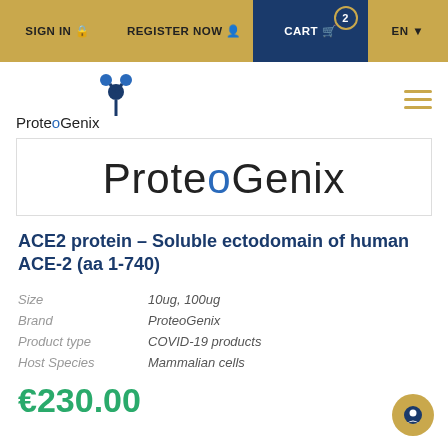SIGN IN | REGISTER NOW | CART 2 | EN
[Figure (logo): ProteoGenix logo with blue antibody figure and company name]
[Figure (screenshot): ProteoGenix brand name displayed large in hero image area]
ACE2 protein – Soluble ectodomain of human ACE-2 (aa 1-740)
| Attribute | Value |
| --- | --- |
| Size | 10ug, 100ug |
| Brand | ProteoGenix |
| Product type | COVID-19 products |
| Host Species | Mammalian cells |
€230.00